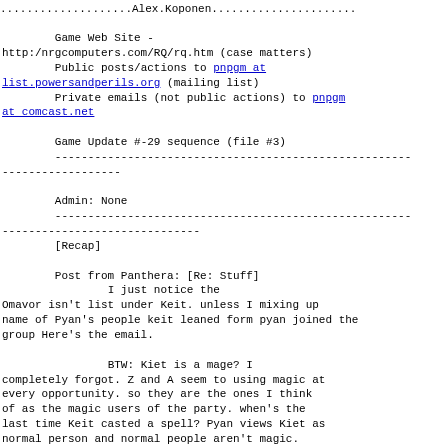....................Alex.Koponen......................
Game Web Site -
http:/nrgcomputers.com/RQ/rq.htm (case matters)
        Public posts/actions to pnpgm at list.powersandperils.org (mailing list)
        Private emails (not public actions) to pnpgm at comcast.net
Game Update #-29 sequence (file #3)
------------------------------------------------------
-------------------
Admin: None
------------------------------------------------------
------------------------------
[Recap]
Post from Panthera: [Re: Stuff]
                I just notice the
Omavor isn't list under Keit. unless I mixing up
name of Pyan's people keit leaned form pyan joined the
group Here's the email.
BTW: Kiet is a mage? I
completely forgot. Z and A seem to using magic at
every opportunity. so they are the ones I think
of as the magic users of the party. when's the
last time Keit casted a spell? Pyan views Kiet as
normal person and normal people aren't magic.